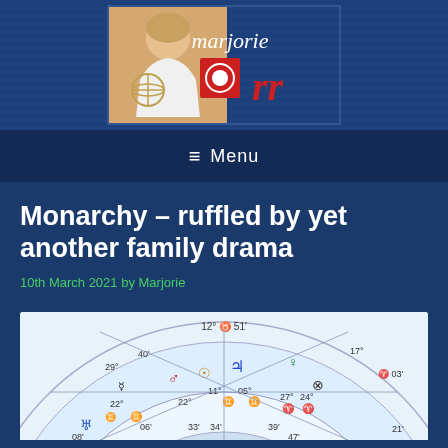[Figure (logo): Marjorie Orr website header with photo of woman holding armillary sphere and logo text 'marjorie orr' with red circle emblem]
≡  Menu
Monarchy – ruffled by yet another family drama
10th March 2021 by Marjorie
[Figure (other): Partial astrology natal chart showing zodiac symbols, degrees including 12° ♉ 51', 17°, 40', 29°, 22°, 11°, 05°, 27°, 24°, 03', various planetary symbols]